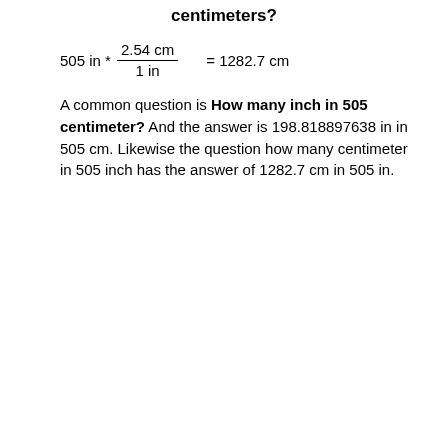centimeters?
A common question is How many inch in 505 centimeter? And the answer is 198.818897638 in in 505 cm. Likewise the question how many centimeter in 505 inch has the answer of 1282.7 cm in 505 in.